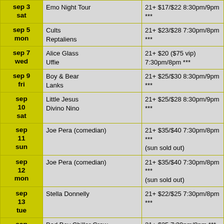| Date | Artist | Info |
| --- | --- | --- |
| sep 3
sat | Emo Night Tour | 21+ $17/$22 8:30pm/9pm *** |
| sep 5
mon | Cults
Reptaliens | 21+ $23/$28 7:30pm/8pm *** |
| sep 7
wed | Alice Glass
Uffie | 21+ $20 ($75 vip)
7:30pm/8pm *** |
| sep 9
fri | Boy & Bear
Lanks | 21+ $25/$30 8:30pm/9pm *** |
| sep
10
sat | Little Jesus
Divino Nino | 21+ $25/$28 8:30pm/9pm *** |
| sep
11
sun | Joe Pera (comedian) | 21+ $35/$40 7:30pm/8pm ***
(sun sold out) |
| sep
12
mon | Joe Pera (comedian) | 21+ $35/$40 7:30pm/8pm ***
(sun sold out) |
| sep
13
tue | Stella Donnelly | 21+ $22/$25 7:30pm/8pm *** |
| sep
15
thu | Bad Boy Chiller Crew | 21+ $25 7:30pm/8pm *** |
| sep
16
fri | Hollow Coves | 21+ $25 8:30pm/9pm *** |